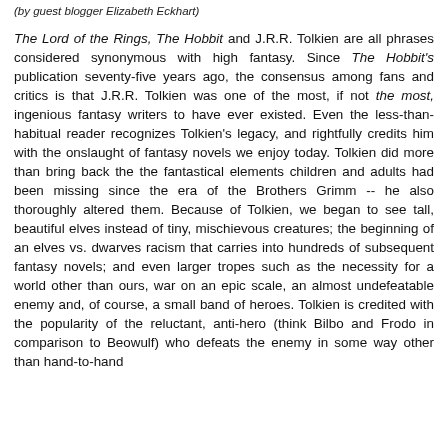(by guest blogger Elizabeth Eckhart)
The Lord of the Rings, The Hobbit and J.R.R. Tolkien are all phrases considered synonymous with high fantasy. Since The Hobbit's publication seventy-five years ago, the consensus among fans and critics is that J.R.R. Tolkien was one of the most, if not the most, ingenious fantasy writers to have ever existed. Even the less-than-habitual reader recognizes Tolkien's legacy, and rightfully credits him with the onslaught of fantasy novels we enjoy today. Tolkien did more than bring back the the fantastical elements children and adults had been missing since the era of the Brothers Grimm -- he also thoroughly altered them. Because of Tolkien, we began to see tall, beautiful elves instead of tiny, mischievous creatures; the beginning of an elves vs. dwarves racism that carries into hundreds of subsequent fantasy novels; and even larger tropes such as the necessity for a world other than ours, war on an epic scale, an almost undefeatable enemy and, of course, a small band of heroes. Tolkien is credited with the popularity of the reluctant, anti-hero (think Bilbo and Frodo in comparison to Beowulf) who defeats the enemy in some way other than hand-to-hand combat. The list of...